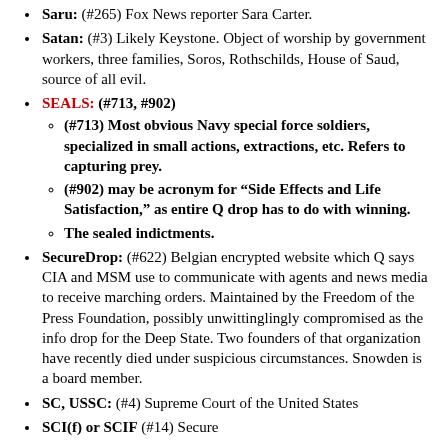Saru: (#265) Fox News reporter Sara Carter.
Satan: (#3) Likely Keystone. Object of worship by government workers, three families, Soros, Rothschilds, House of Saud, source of all evil.
SEALS: (#713, #902)
(#713) Most obvious Navy special force soldiers, specialized in small actions, extractions, etc. Refers to capturing prey.
(#902) may be acronym for “Side Effects and Life Satisfaction,” as entire Q drop has to do with winning.
The sealed indictments.
SecureDrop: (#622) Belgian encrypted website which Q says CIA and MSM use to communicate with agents and news media to receive marching orders. Maintained by the Freedom of the Press Foundation, possibly unwittinglingly compromised as the info drop for the Deep State. Two founders of that organization have recently died under suspicious circumstances. Snowden is a board member.
SC, USSC: (#4) Supreme Court of the United States
SCI(f) or SCIF (#14) Secure...